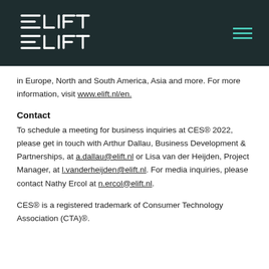ELIFT logo and navigation menu
in Europe, North and South America, Asia and more. For more information, visit www.elift.nl/en.
Contact
To schedule a meeting for business inquiries at CES® 2022, please get in touch with Arthur Dallau, Business Development & Partnerships, at a.dallau@elift.nl or Lisa van der Heijden, Project Manager, at l.vanderheijden@elift.nl. For media inquiries, please contact Nathy Ercol at n.ercol@elift.nl.
CES® is a registered trademark of Consumer Technology Association (CTA)®.